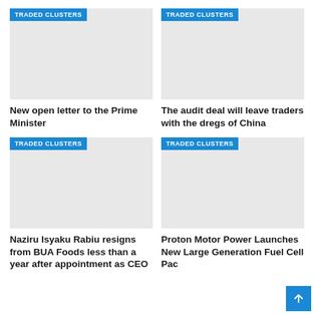[Figure (photo): Article image placeholder with TRADED CLUSTERS badge - New open letter to the Prime Minister]
New open letter to the Prime Minister
[Figure (photo): Article image placeholder with TRADED CLUSTERS badge - The audit deal will leave traders with the dregs of China]
The audit deal will leave traders with the dregs of China
[Figure (photo): Article image placeholder with TRADED CLUSTERS badge - Naziru Isyaku Rabiu resigns from BUA Foods less than a year after appointment as CEO]
Naziru Isyaku Rabiu resigns from BUA Foods less than a year after appointment as CEO
[Figure (photo): Article image placeholder with TRADED CLUSTERS badge - Proton Motor Power Launches New Large Generation Fuel Cell Pack]
Proton Motor Power Launches New Large Generation Fuel Cell Pack